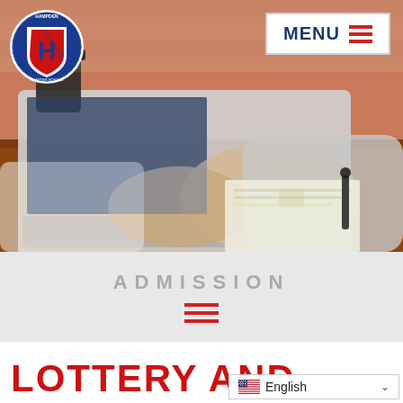[Figure (photo): Person typing on a laptop at a desk with papers, coffee cup and brick wall in background (school admission webpage hero image)]
[Figure (logo): Hampden charter school circular shield logo with H in center]
MENU ≡
ADMISSION
LOTTERY AND
English